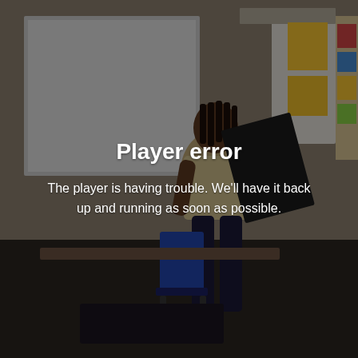[Figure (photo): A darkened/dimmed photograph of a classroom scene showing a student standing at the front holding an open book/folder, with a whiteboard and colorful bulletin board visible in the background. The image has a dark overlay applied over it, creating a video player error state appearance.]
Player error
The player is having trouble. We'll have it back up and running as soon as possible.